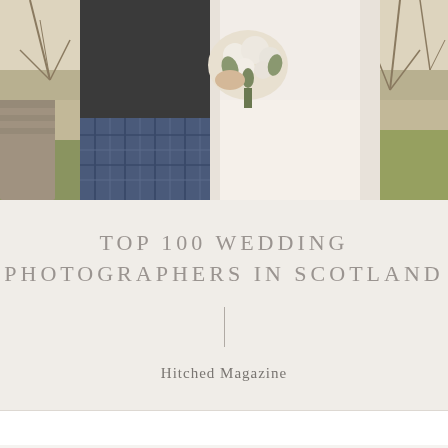[Figure (photo): Wedding photo showing a couple from waist down — groom in blue tartan kilt on the left, bride in white dress holding a white floral bouquet on the right. Outdoor setting with grass and bare winter trees in the background.]
TOP 100 WEDDING PHOTOGRAPHERS IN SCOTLAND
Hitched Magazine